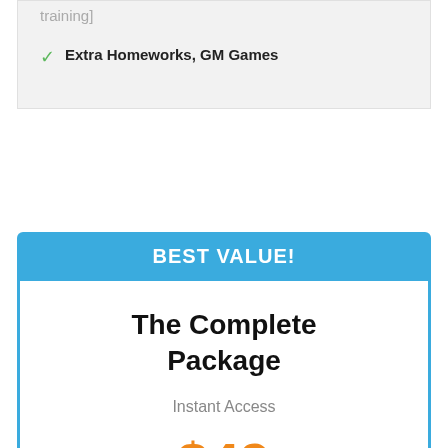training]
Extra Homeworks, GM Games
BEST VALUE!
The Complete Package
Instant Access
$49